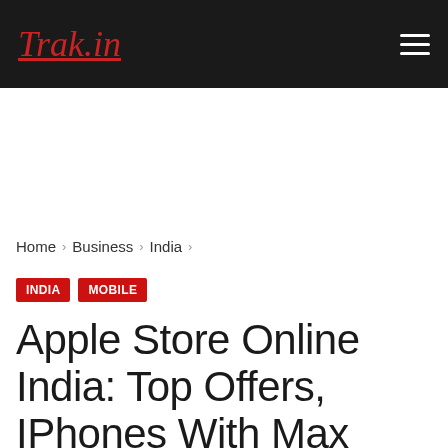Trak.in
Home › Business › India ›
INDIA   MOBILE
Apple Store Online India: Top Offers, IPhones With Max Discount, Exchange